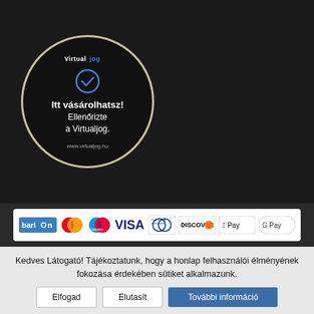[Figure (logo): Virtualjog trust badge: black circle with checkmark icon, text 'Itt vásárolhatsz! Ellenőrizte a Virtualjog.' and url www.virtualjog.hu]
[Figure (logo): Payment methods bar showing Barion, Mastercard, Maestro, VISA, Diners Club, Discover, Apple Pay, Google Pay logos]
Kedves Látogató! Tájékoztatunk, hogy a honlap felhasználói élményének fokozása érdekében sütiket alkalmazunk.
Elfogad
Elutasít
További információ